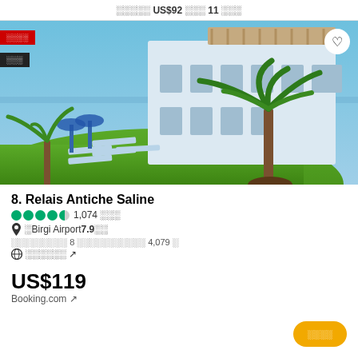░░░░░ US$92 ░░░ 11 ░░░
[Figure (photo): Hotel exterior photo showing a white Mediterranean-style building with pergola on rooftop, green lawn with blue sun loungers, palm trees in foreground, blue sky background]
8. Relais Antiche Saline
●●●●◐ 1,074 ░░░
📍 ░Birgi Airport 7.9░░
░░░░░░░░░ 8 ░░░░░░░░░░░ 4,079 ░
🌐 ░░░░░░ ↗
US$119
Booking.com ↗